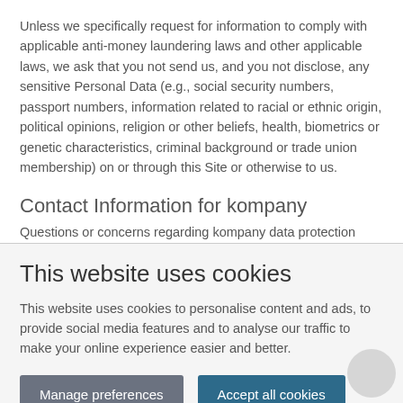Unless we specifically request for information to comply with applicable anti-money laundering laws and other applicable laws, we ask that you not send us, and you not disclose, any sensitive Personal Data (e.g., social security numbers, passport numbers, information related to racial or ethnic origin, political opinions, religion or other beliefs, health, biometrics or genetic characteristics, criminal background or trade union membership) on or through this Site or otherwise to us.
Contact Information for kompany
Questions or concerns regarding kompany data protection
This website uses cookies
This website uses cookies to personalise content and ads, to provide social media features and to analyse our traffic to make your online experience easier and better.